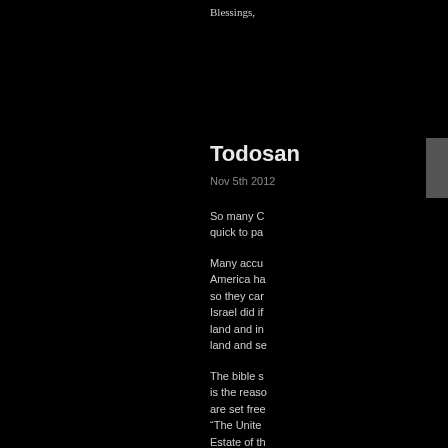Blessings,
Todosan
Nov 5th 2012
So many C quick to pa
Many accu America ha so they car Israel did if land and in land and se
The bible s is the reaso are set free “The Unite Estate of th
So God ha leaders co